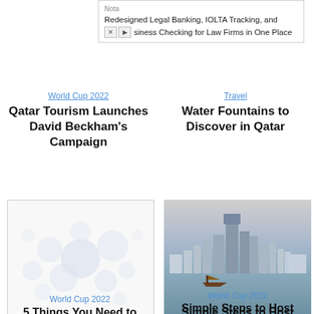[Figure (screenshot): Advertisement banner for Nota: Redesigned Legal Banking, IOLTA Tracking, and Business Checking for Law Firms in One Place]
World Cup 2022
Travel
Qatar Tourism Launches David Beckham's Campaign
Water Fountains to Discover in Qatar
[Figure (illustration): White background image with light gray bubble/circle pattern - placeholder or loading image]
[Figure (photo): Photo of Doha Qatar skyline with modern skyscrapers and a traditional boat on the water in the foreground]
World Cup 2022
World Cup 2022
5 Things You Need to Know About Lusail
Simple Steps to Host Families and Friends During The World Cup